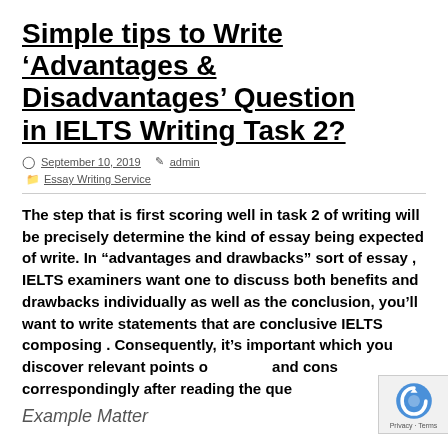Simple tips to Write ‘Advantages & Disadvantages’ Question in IELTS Writing Task 2?
September 10, 2019   admin
Essay Writing Service
The step that is first scoring well in task 2 of writing will be precisely determine the kind of essay being expected of write. In “advantages and drawbacks” sort of essay , IELTS examiners want one to discuss both benefits and drawbacks individually as well as the conclusion, you’ll want to write statements that are conclusive IELTS composing . Consequently, it’s important which you discover relevant points of pros and cons correspondingly after reading the que…
Example Matter